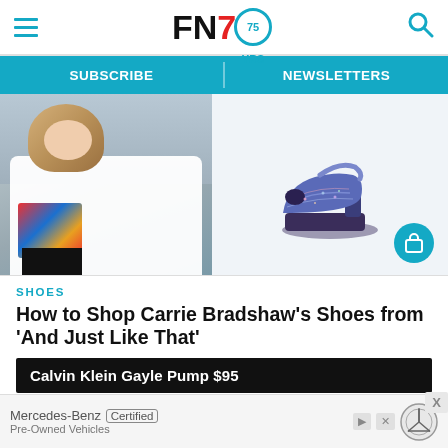FN7 — Footwear News header with hamburger menu and search icon
SUBSCRIBE | NEWSLETTERS
[Figure (photo): Woman with blonde hair in white shirt holding colorful bag next to a glittery platform high-heel shoe with a shopping bag icon]
SHOES
How to Shop Carrie Bradshaw's Shoes from 'And Just Like That'
Calvin Klein Gayle Pump $95
[Figure (photo): Mercedes-Benz Certified Pre-Owned Vehicles advertisement banner]